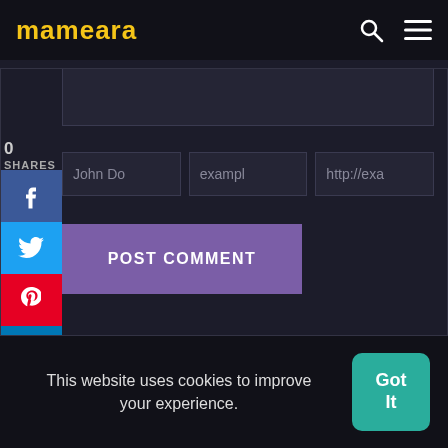[Figure (screenshot): Website header with 'mameara' logo in yellow, search icon and hamburger menu icon on dark background]
[Figure (infographic): Social share sidebar with 0 SHARES count, Facebook (f), Twitter bird, Pinterest (p), and LinkedIn (in) buttons]
[Figure (screenshot): Comment form with textarea and three input fields: 'John Do', 'exampl', 'http://exa']
POST COMMENT
This website uses cookies to improve your experience.
Got It